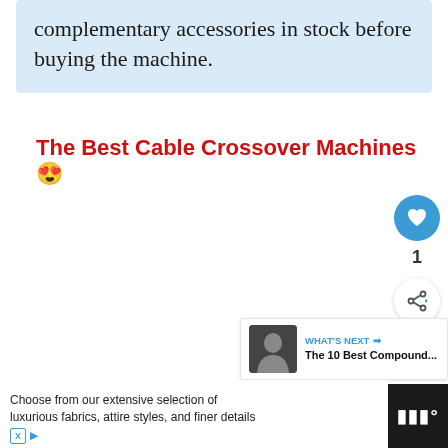complementary accessories in stock before buying the machine.
The Best Cable Crossover Machines 😎
[Figure (infographic): Social sharing widget with a blue heart/like button showing count of 1 and a share button below]
[Figure (infographic): What's Next promo box showing a muscular person thumbnail and text 'The 10 Best Compound...']
[Figure (infographic): Advertisement bar at bottom: 'Choose from our extensive selection of luxurious fabrics, attire styles, and finer details' with brand logo on right]